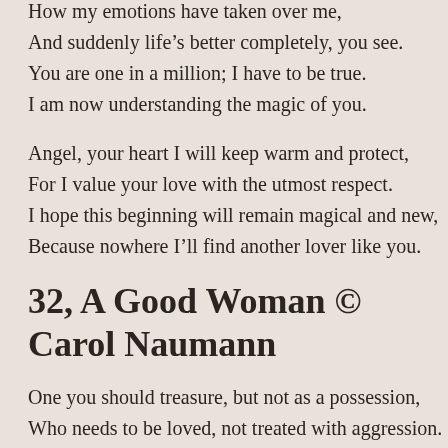How my emotions have taken over me,
And suddenly life's better completely, you see.
You are one in a million; I have to be true.
I am now understanding the magic of you.
Angel, your heart I will keep warm and protect,
For I value your love with the utmost respect.
I hope this beginning will remain magical and new,
Because nowhere I'll find another lover like you.
32, A Good Woman © Carol Naumann
One you should treasure, but not as a possession,
Who needs to be loved, not treated with aggression.
Her value is more than all the world's treasures,